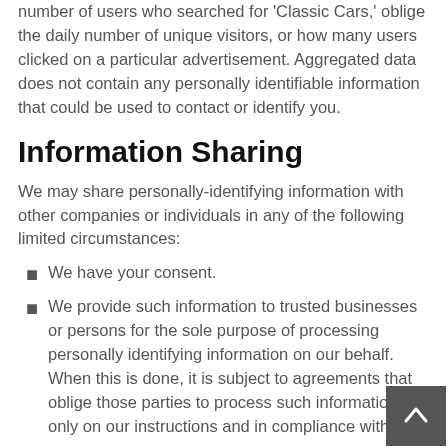number of users who searched for 'Classic Cars,' oblige the daily number of unique visitors, or how many users clicked on a particular advertisement. Aggregated data does not contain any personally identifiable information that could be used to contact or identify you.
Information Sharing
We may share personally-identifying information with other companies or individuals in any of the following limited circumstances:
We have your consent.
We provide such information to trusted businesses or persons for the sole purpose of processing personally identifying information on our behalf. When this is done, it is subject to agreements that oblige those parties to process such information only on our instructions and in compliance with